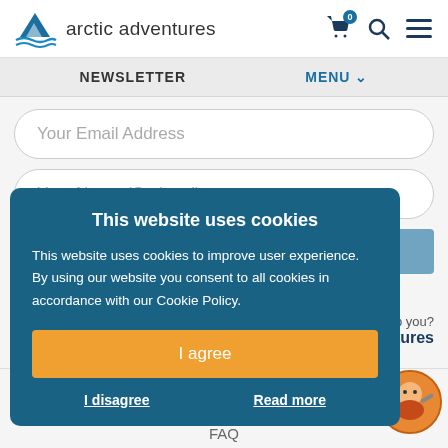arctic adventures — header with cart, search, and menu icons
NEWSLETTER   MENU ▾
Your Email Address
Your Name (Optional)
This website uses cookies
This website uses cookies to improve user experience. By using our website you consent to all cookies in accordance with our Cookie Policy.
I agree
I disagree
Read more
Currency: USD ▾
Hi! Can I help you?
Arctic Adventures
♡ (0)
My Account
Reviews
FAQ